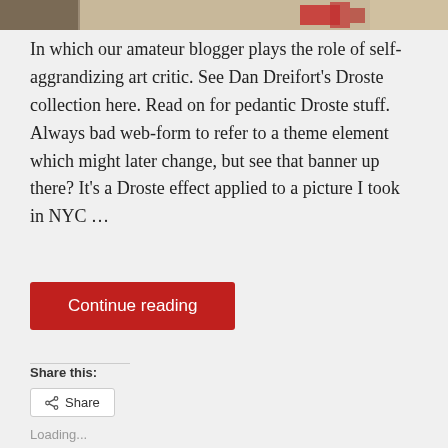[Figure (photo): Top strip of a photo showing sandy/earthy tones with a red object, likely a NYC street scene with Droste effect applied]
In which our amateur blogger plays the role of self-aggrandizing art critic. See Dan Dreifort's Droste collection here. Read on for pedantic Droste stuff. Always bad web-form to refer to a theme element which might later change, but see that banner up there? It's a Droste effect applied to a picture I took in NYC …
Continue reading
Share this:
Share
Loading...